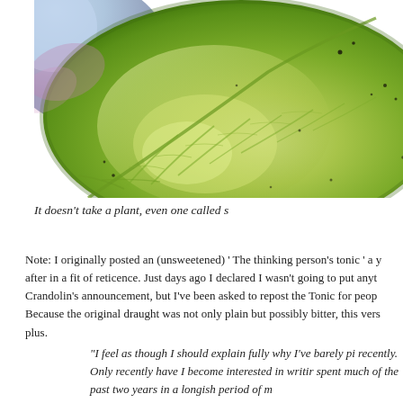[Figure (photo): Close-up macro photograph of a green leaf with visible veins and texture, slight blue tint in upper left corner, small dark spots (insects or dust) visible on the leaf surface.]
It doesn't take a plant, even one called s
Note: I originally posted an (unsweetened) ' The thinking person's tonic ' a y after in a fit of reticence. Just days ago I declared I wasn't going to put anyt Crandolin's announcement, but I've been asked to repost the Tonic for peop Because the original draught was not only plain but possibly bitter, this vers plus.
"I feel as though I should explain fully why I've barely pi recently. Only recently have I become interested in writir spent much of the past two years in a longish period of m